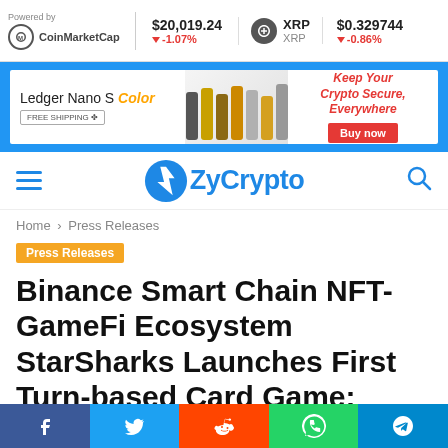Powered by CoinMarketCap | $20,019.24 -1.07% | XRP XRP | $0.329744 -0.86%
[Figure (screenshot): Ledger Nano S Color advertisement banner with FREE SHIPPING offer and Buy now button]
[Figure (logo): ZyCrypto logo with lightning bolt icon and hamburger menu and search icon]
Home › Press Releases
Press Releases
Binance Smart Chain NFT-GameFi Ecosystem StarSharks Launches First Turn-based Card Game: